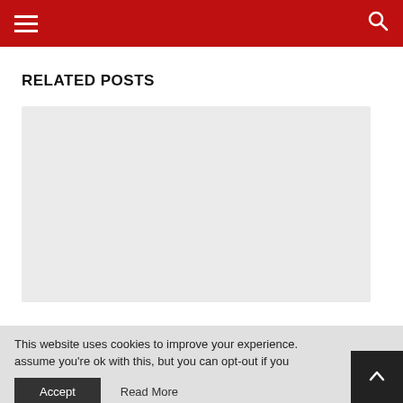Navigation header with hamburger menu and search icon
RELATED POSTS
[Figure (other): Gray placeholder rectangle for a related post image]
This website uses cookies to improve your experience. assume you're ok with this, but you can opt-out if you
Accept   Read More